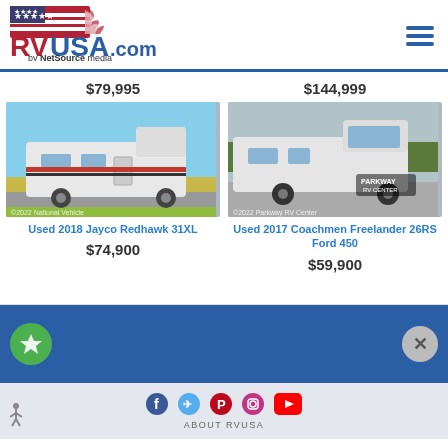RVUSA.com by NetSource media
$79,995
[Figure (photo): Used 2018 Jayco Redhawk 31XL motorhome parked in field with yellow flowers, copyright 2022 National Vehicle]
Used 2018 Jayco Redhawk 31XL
$74,900
$144,999
[Figure (photo): Used 2017 Coachmen Freelander 26RS Ford 450 motorhome in parking lot, copyright 2022 Parkway RV Center]
Used 2017 Coachmen Freelander 26RS Ford 450
$59,900
ABOUT RVUSA